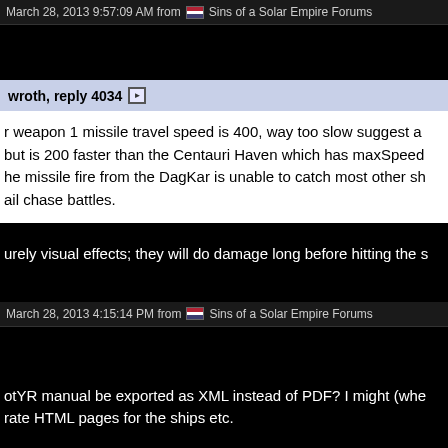March 28, 2013 9:57:09 AM from Sins of a Solar Empire Forums
wroth, reply 4034
r weapon 1 missile travel speed is 400, way too slow suggest a but is 200 faster than the Centauri Haven which has maxSpeed he missile fire from the DagKar is unable to catch most other sh ail chase battles.
urely visual effects; they will do damage long before hitting the s
March 28, 2013 4:15:14 PM from Sins of a Solar Empire Forums
otYR manual be exported as XML instead of PDF? I might (whe rate HTML pages for the ships etc.